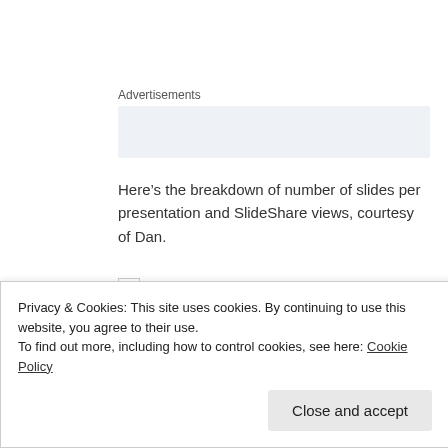Advertisements
[Figure (other): Advertisement placeholder box (light blue/grey background)]
Here’s the breakdown of number of slides per presentation and SlideShare views, courtesy of Dan.
[Figure (other): Small image placeholder (empty checkbox-like square)]
Beyond the data, there is a bit of opposite advice that many hold as a best practice: Guy Kawasaki’s
Privacy & Cookies: This site uses cookies. By continuing to use this website, you agree to their use.
To find out more, including how to control cookies, see here: Cookie Policy
Close and accept